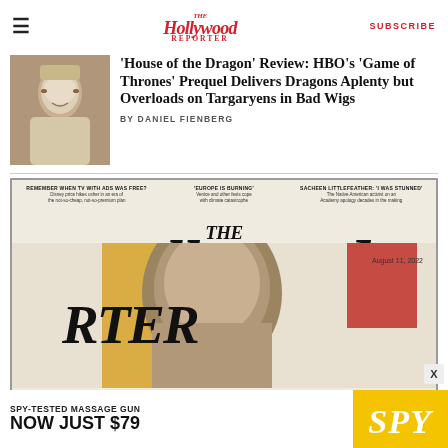The Hollywood Reporter | SUBSCRIBE
'House of the Dragon' Review: HBO's 'Game of Thrones' Prequel Delivers Dragons Aplenty but Overloads on Targaryens in Bad Wigs
BY DANIEL FIENBERG
[Figure (photo): Still from House of the Dragon showing a blonde woman in medieval costume]
[Figure (photo): The Hollywood Reporter magazine cover featuring a woman, August 11, 2022. Teasers: 'REMEMBER WHEN TV WITH ADS WAS FREE?', 'EUROPE IS BURNING', 'SACHEEN LITTLEFEATHER: I WAS STUNNED']
[Figure (photo): Advertisement banner: SPY-TESTED MASSAGE GUN NOW JUST $79, SPY logo on yellow background]